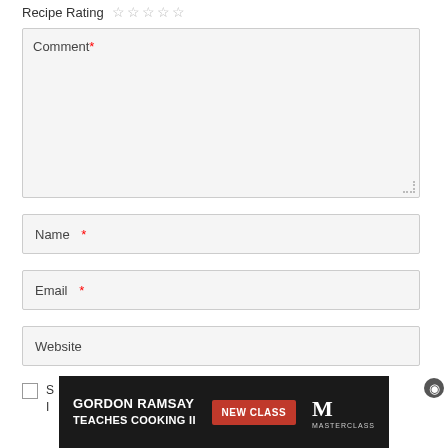Recipe Rating ☆ ☆ ☆ ☆ ☆
Comment *
Name *
Email *
Website
Save my name, email, and website in this browser for the next time I comment.
[Figure (screenshot): Gordon Ramsay Teaches Cooking II advertisement banner with NEW CLASS button and MasterClass logo]